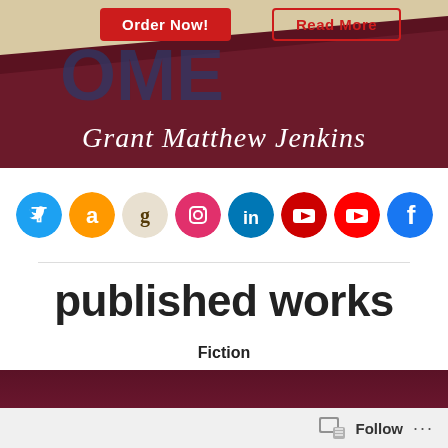[Figure (photo): Hero banner with dark maroon/burgundy background showing book cover with large letters, two buttons (Order Now, Read More), and author name Grant Matthew Jenkins in italic script at the bottom]
[Figure (infographic): Row of social media icons: Twitter (blue), Amazon (orange), Goodreads (beige/gray), Instagram (pink/magenta), LinkedIn (blue), YouTube (red, two icons), Facebook (blue)]
published works
Fiction
[Figure (photo): Bottom partial image with dark maroon/burgundy background, partial book cover visible]
Follow ...